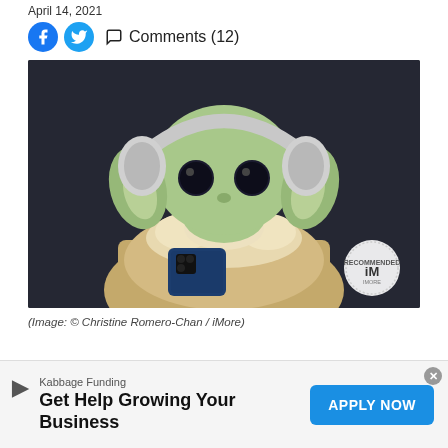April 14, 2021
Comments (12)
[Figure (photo): Baby Yoda (Grogu) figurine wearing white over-ear headphones and holding a blue iPhone, with a 'Recommended iM' badge in the bottom right corner. Dark background.]
(Image: © Christine Romero-Chan / iMore)
Kabbage Funding
Get Help Growing Your Business
APPLY NOW